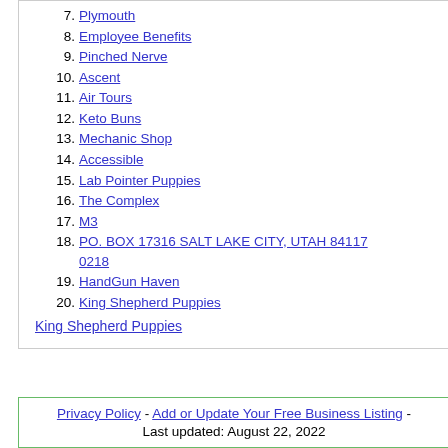7. Plymouth
8. Employee Benefits
9. Pinched Nerve
10. Ascent
11. Air Tours
12. Keto Buns
13. Mechanic Shop
14. Accessible
15. Lab Pointer Puppies
16. The Complex
17. M3
18. PO. BOX 17316 SALT LAKE CITY, UTAH 84117 0218
19. HandGun Haven
20. King Shepherd Puppies
King Shepherd Puppies
Privacy Policy - Add or Update Your Free Business Listing - Last updated: August 22, 2022